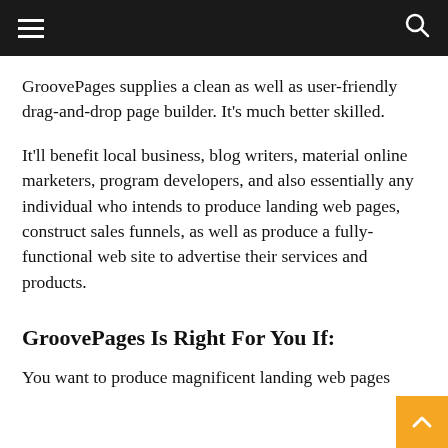[Navigation bar with hamburger menu and search icon]
GroovePages supplies a clean as well as user-friendly drag-and-drop page builder. It's much better skilled.
It'll benefit local business, blog writers, material online marketers, program developers, and also essentially any individual who intends to produce landing web pages, construct sales funnels, as well as produce a fully-functional web site to advertise their services and products.
GroovePages Is Right For You If:
You want to produce magnificent landing web pages